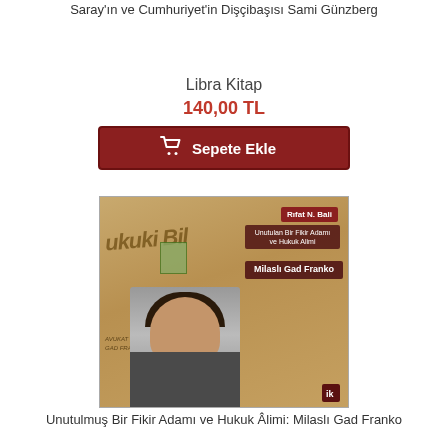Saray'ın ve Cumhuriyet'in Dişçibaşısı Sami Günzberg
Libra Kitap
140,00 TL
[Figure (screenshot): Red 'Sepete Ekle' (Add to Cart) button with shopping cart icon]
[Figure (photo): Book cover of 'Unutulmuş Bir Fikir Adamı ve Hukuk Alimi: Milaslı Gad Franko' by Rıfat N. Bali, showing a vintage sepia-toned cover with a man's portrait photograph]
Unutulmuş Bir Fikir Adamı ve Hukuk Âlimi: Milaslı Gad Franko